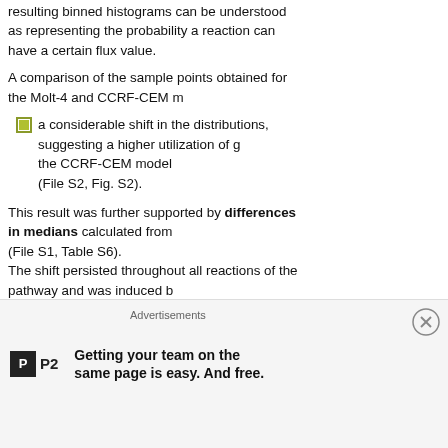resulting binned histograms can be understood as representing the probability a reaction can have a certain flux value.
A comparison of the sample points obtained for the Molt-4 and CCRF-CEM m
a considerable shift in the distributions, suggesting a higher utilization of g the CCRF-CEM model (File S2, Fig. S2).
This result was further supported by differences in medians calculated from (File S1, Table S6). The shift persisted throughout all reactions of the pathway and was induced b glucose uptake (34 %) from the extracellular medium in CCRF-CEM cells.
The sampling median for glucose uptake was 34 % higher in the CCRF-CEM in Molt-4 model (File S2, Fig. S2).
The usage of the TCA cycle was also distinct in the two condition-specific cell- (Fig. 2). Interestingly, the models used succinate dehydrogenase differently (Figs. 2, 3).
Advertisements
Getting your team on the same page is easy. And free.